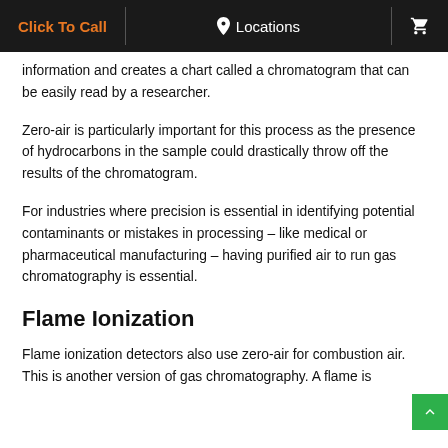Click To Call | Locations | [cart icon]
information and creates a chart called a chromatogram that can be easily read by a researcher.
Zero-air is particularly important for this process as the presence of hydrocarbons in the sample could drastically throw off the results of the chromatogram.
For industries where precision is essential in identifying potential contaminants or mistakes in processing – like medical or pharmaceutical manufacturing – having purified air to run gas chromatography is essential.
Flame Ionization
Flame ionization detectors also use zero-air for combustion air. This is another version of gas chromatography. A flame is